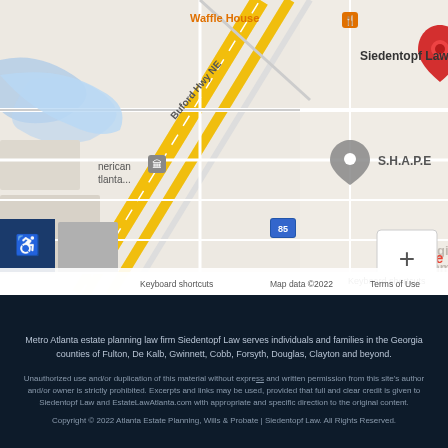[Figure (map): Google Maps screenshot showing the location of Siedentopf Law near Buford Hwy NE in Atlanta, GA. Nearby landmarks include Waffle House, S.H.A.P.E, American Atlanta, Courtyard by Marriott Atlanta, and The Georgia Department of Community Affairs. A red location pin marks Siedentopf Law. Map data ©2022 Google.]
Metro Atlanta estate planning law firm Siedentopf Law serves individuals and families in the Georgia counties of Fulton, De Kalb, Gwinnett, Cobb, Forsyth, Douglas, Clayton and beyond.
Unauthorized use and/or duplication of this material without express and written permission from this site's author and/or owner is strictly prohibited. Excerpts and links may be used, provided that full and clear credit is given to Siedentopf Law and EstateLawAtlanta.com with appropriate and specific direction to the original content.
Copyright © 2022 Atlanta Estate Planning, Wills & Probate | Siedentopf Law. All Rights Reserved.